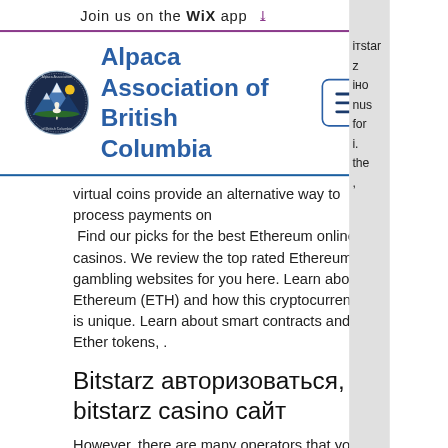Join us on the WiX app ↓
[Figure (logo): Alpaca Association of British Columbia circular logo with mountain and alpaca design]
Alpaca Association of British Columbia
virtual coins provide an alternative way to process payments on
 Find our picks for the best Ethereum online casinos. We review the top rated Ethereum gambling websites for you here. Learn about Ethereum (ETH) and how this cryptocurrency is unique. Learn about smart contracts and Ether tokens, .
Bitstarz авторизоваться, bitstarz casino сайт
However, there are many operators that you can use to place bets with a variety of